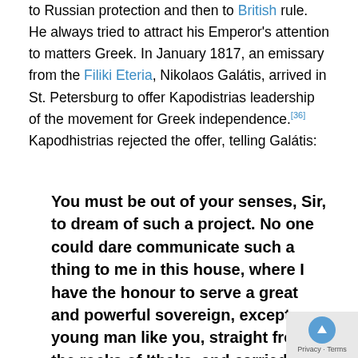to Russian protection and then to British rule. He always tried to attract his Emperor's attention to matters Greek. In January 1817, an emissary from the Filiki Eteria, Nikolaos Galátis, arrived in St. Petersburg to offer Kapodistrias leadership of the movement for Greek independence.[36] Kapodhistrias rejected the offer, telling Galátis:
You must be out of your senses, Sir, to dream of such a project. No one could dare communicate such a thing to me in this house, where I have the honour to serve a great and powerful sovereign, except a young man like you, straight from the rocks of Ithaka, and carried away by some sort of blind passion. I can no longer continue this discussion of the objects of your mission, and I assure you that I shall never take note of your papers. The only advice I can give to you to is t nobody about them, to return immediately whe you have come from, and to tell those who sen you ...